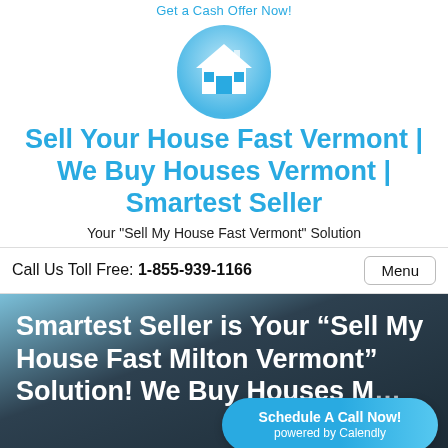Get a Cash Offer Now!
[Figure (logo): Circular blue logo with a white house icon]
Sell Your House Fast Vermont | We Buy Houses Vermont | Smartest Seller
Your "Sell My House Fast Vermont" Solution
Call Us Toll Free: 1-855-939-1166
Menu
Smartest Seller is Your “Sell My House Fast Milton Vermont” Solution! We Buy Houses M…
Schedule A Call Now!
powered by Calendly